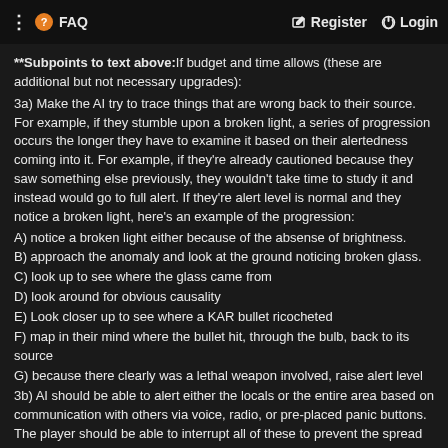FAQ  Register  Login
**Subpoints to text above:If budget and time allows (these are additional but not necessary upgrades):
3a) Make the AI try to trace things that are wrong back to their source. For example, if they stumble upon a broken light, a series of progression occurs the longer they have to examine it based on their alertedness coming into it. For example, if they're already cautioned because they saw something else previously, they wouldn't take time to study it and instead would go to full alert. If they're alert level is normal and they notice a broken light, here's an example of the progression:
A) notice a broken light either because of the absense of brightness.
B) approach the anomaly and look at the ground noticing broken glass.
C) look up to see where the glass came from
D) look around for obvious causality
E) Look closer up to see where a KAR bullet ricocheted
F) map in their mind where the bullet hit, through the bulb, back to its source
G) because there clearly was a lethal weapon involved, raise alert level
3b) AI should be able to alert either the locals or the entire area based on communication with others via voice, radio, or pre-placed panic buttons. The player should be able to interrupt all of these to prevent the spread of alert. For example, taking the AI hostage can make him say whatever needs to be said to stop the alert. Personality should weigh in here where some won't how to P6's will.